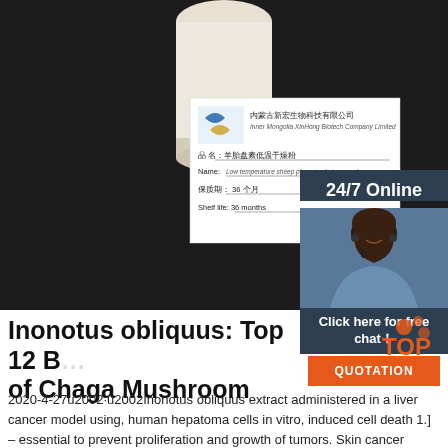[Figure (photo): Photo of a white jar/container of sheep placenta drying powder on a dark background, with a product label card showing Chinese company name and product details.]
24/7 Online
[Figure (photo): Customer service representative woman with headset smiling]
Click here for free chat！
QUOTATION
Inonotus obliquus: Top 12 B... of Chaga Mushroom
2020-4-27u2002·u2002Inonotus obliquus extract administered in a liver cancer model using, human hepatoma cells in vitro, induced cell death 1.] – essential to prevent proliferation and growth of tumors. Skin cancer Using a mouse model with melanoma cells, associated with skin cancer, a dose of 20mg/kg/day of aqueous extracts of Inonotus obliquus, reduced tumor...